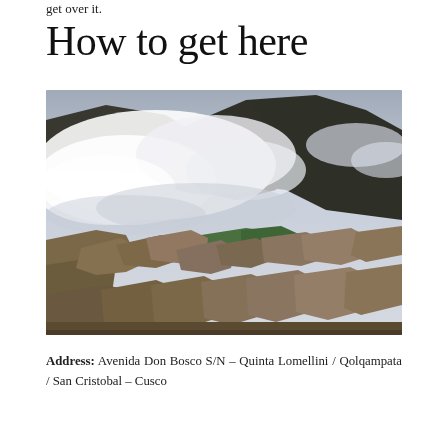get over it.
How to get here
[Figure (photo): Aerial view of Machu Picchu Inca ruins with dramatic clouds and mountains in the background, green terraces visible in the foreground]
Address: Avenida Don Bosco S/N – Quinta Lomellini / Qolqampata / San Cristobal – Cusco